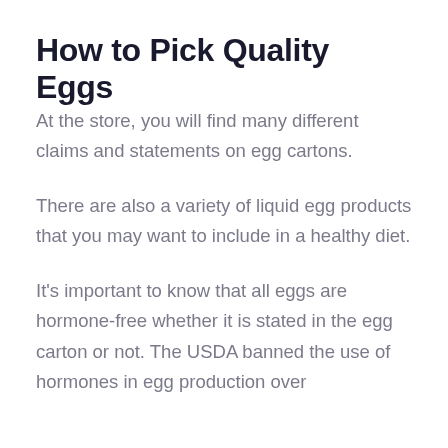How to Pick Quality Eggs
At the store, you will find many different claims and statements on egg cartons.
There are also a variety of liquid egg products that you may want to include in a healthy diet.
It's important to know that all eggs are hormone-free whether it is stated in the egg carton or not. The USDA banned the use of hormones in egg production over